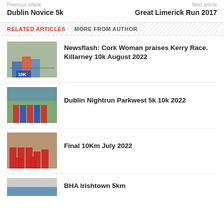Previous article | Next article
Dublin Novice 5k | Great Limerick Run 2017
RELATED ARTICLES | MORE FROM AUTHOR
Newsflash: Cork Woman praises Kerry Race. Killarney 10k August 2022
Dublin Nightrun Parkwest 5k 10k 2022
Final 10Km July 2022
BHA Irishtown 5km